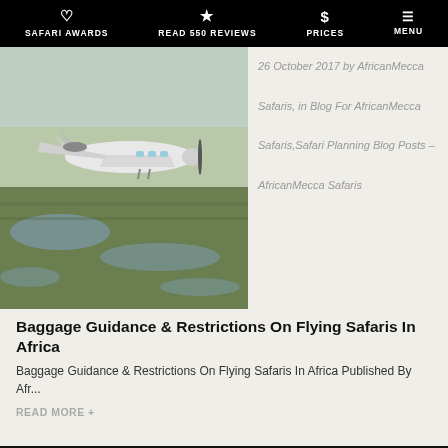SAFARI AWARDS  READ 550 REVIEWS  PRICES  MENU
[Figure (photo): Small bush plane (Cessna Caravan) flying low over a green marshy landscape in Africa]
26 October 2017 by AfricanMecca Safaris, in Blog For AfricanMecca Safaris, Safari Planning Blog Posts – AfricanMecca Safaris
Baggage Guidance & Restrictions On Flying Safaris In Africa
Baggage Guidance & Restrictions On Flying Safaris In Africa Published By Afr...
READ MORE +
AMERICAS TOUR OFFICE
AfricanMecca, Inc
1275 Glenlivet Drive - Suite 100
Allentown, PA 18106
+ Contact Us  TOP